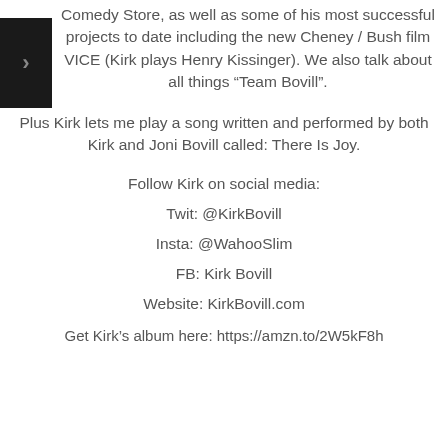Comedy Store, as well as some of his most successful projects to date including the new Cheney / Bush film VICE (Kirk plays Henry Kissinger). We also talk about all things “Team Bovill”.
Plus Kirk lets me play a song written and performed by both Kirk and Joni Bovill called: There Is Joy.
Follow Kirk on social media:
Twit: @KirkBovill
Insta: @WahooSlim
FB: Kirk Bovill
Website: KirkBovill.com
Get Kirk’s album here: https://amzn.to/2W5kF8h